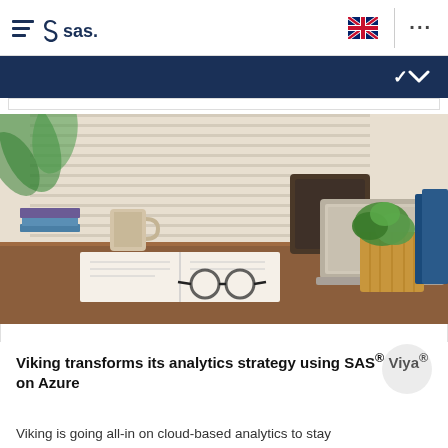SAS website header with hamburger menu, SAS logo, UK flag icon, and ellipsis menu
[Figure (screenshot): Dark navy blue navigation banner with a white chevron/down arrow on the right side]
[Figure (photo): Office desk scene with laptop, open notebook, eyeglasses, coffee mug, potted plant in wooden planter, green plant in background, books]
Viking transforms its analytics strategy using SAS® Viya® on Azure
Viking is going all-in on cloud-based analytics to stay